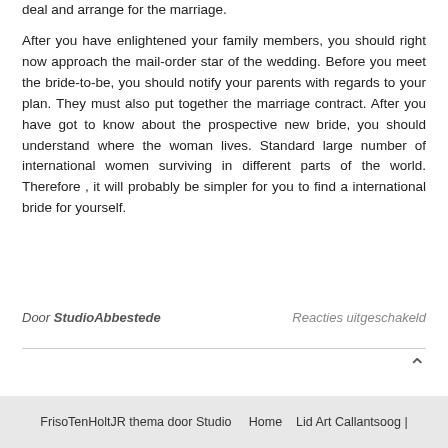deal and arrange for the marriage.
After you have enlightened your family members, you should right now approach the mail-order star of the wedding. Before you meet the bride-to-be, you should notify your parents with regards to your plan. They must also put together the marriage contract. After you have got to know about the prospective new bride, you should understand where the woman lives. Standard large number of international women surviving in different parts of the world. Therefore , it will probably be simpler for you to find a international bride for yourself.
Door StudioAbbestede
Reacties uitgeschakeld
FrisoTenHoltJR thema door Studio   Home   Lid Art Callantsoog |